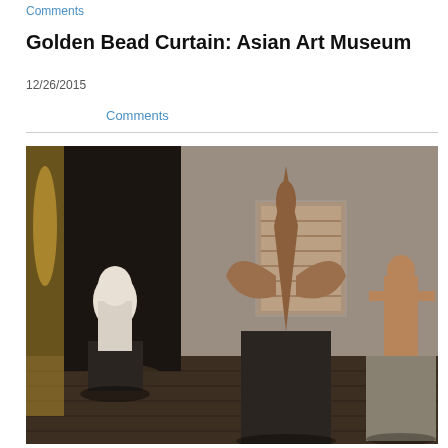Comments
Golden Bead Curtain: Asian Art Museum
12/26/2015
Comments
[Figure (photo): Interior view of Asian Art Museum gallery showing several sculptures on pedestals: a white marble bust on the left in a dark alcove, a large ornate Thai or Southeast Asian deity figure with pointed crown in the center, and a smaller reddish stone figure on the right. On the far left is a golden bead curtain installation. A framed artwork hangs on the back wall.]